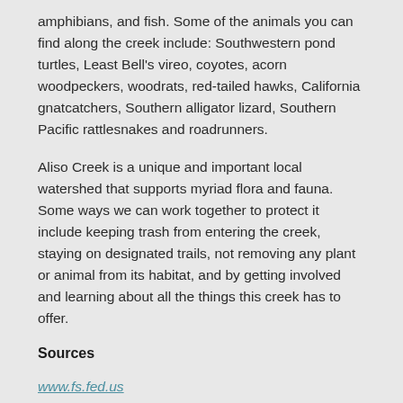amphibians, and fish. Some of the animals you can find along the creek include: Southwestern pond turtles, Least Bell's vireo, coyotes, acorn woodpeckers, woodrats, red-tailed hawks, California gnatcatchers, Southern alligator lizard, Southern Pacific rattlesnakes and roadrunners.
Aliso Creek is a unique and important local watershed that supports myriad flora and fauna. Some ways we can work together to protect it include keeping trash from entering the creek, staying on designated trails, not removing any plant or animal from its habitat, and by getting involved and learning about all the things this creek has to offer.
Sources
www.fs.fed.us
www.usgs.gov/